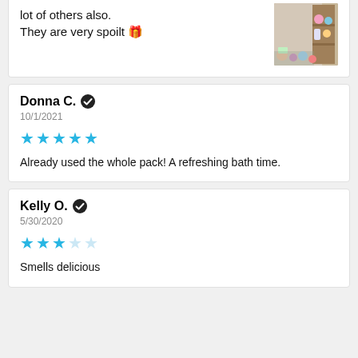lot of others also.
They are very spoilt 🎁
[Figure (photo): Photo of bath products on a shelf]
Donna C. ✔
10/1/2021
★★★★★ (5 stars)
Already used the whole pack! A refreshing bath time.
Kelly O. ✔
5/30/2020
★★★☆☆ (3 stars)
Smells delicious